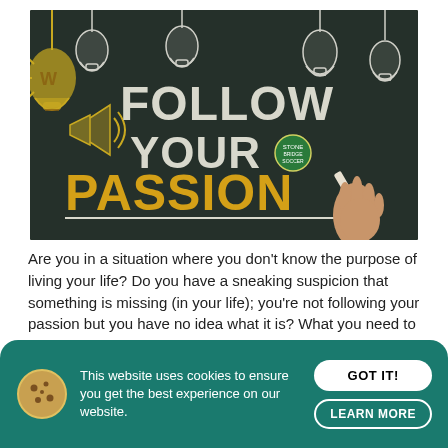[Figure (illustration): Chalkboard image with 'FOLLOW YOUR PASSION' text — 'FOLLOW YOUR' in white chalk lettering, 'PASSION' in gold/yellow, lightbulbs drawn in chalk, a hand holding chalk, and a small soccer club logo badge.]
Are you in a situation where you don't know the purpose of living your life? Do you have a sneaking suspicion that something is missing (in your life); you're not following your passion but you have no idea what it is? What you need to do is to[...]
Read More »
This website uses cookies to ensure you get the best experience on our website.
GOT IT!
LEARN MORE